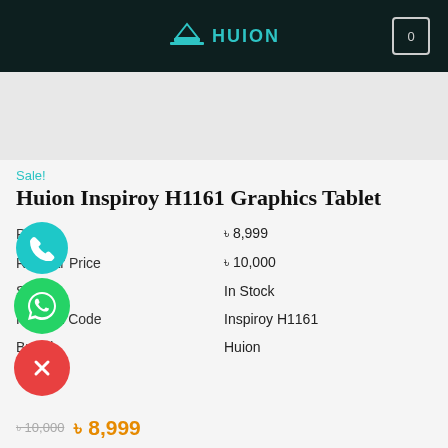HUION
[Figure (other): Product image placeholder area (white/light gray)]
Sale!
Huion Inspiroy H1161 Graphics Tablet
|  |  |
| --- | --- |
| Price | ৳ 8,999 |
| Regular Price | ৳ 10,000 |
| Status | In Stock |
| Product Code | Inspiroy H1161 |
| Brand | Huion |
৳ 10,000  ৳ 8,999